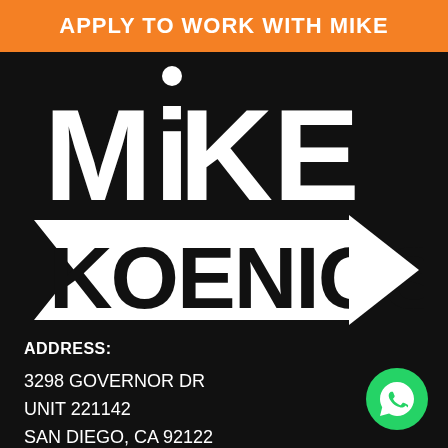APPLY TO WORK WITH MIKE
[Figure (logo): Mike Koenigs logo in white text on dark background with arrow pointing right]
ADDRESS:
3298 GOVERNOR DR
UNIT 221142
SAN DIEGO, CA 92122
[Figure (logo): WhatsApp green circle icon button]